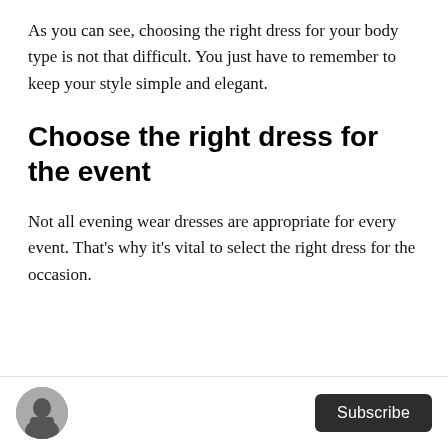As you can see, choosing the right dress for your body type is not that difficult. You just have to remember to keep your style simple and elegant.
Choose the right dress for the event
Not all evening wear dresses are appropriate for every event. That's why it's vital to select the right dress for the occasion.
Subscribe